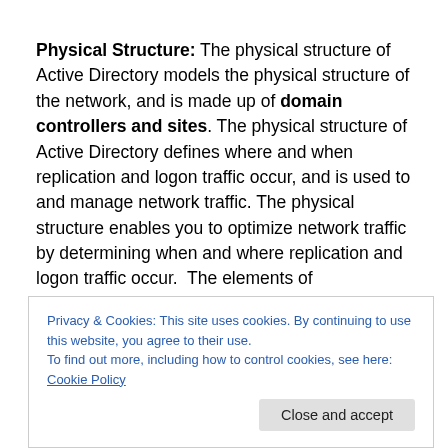Physical Structure: The physical structure of Active Directory models the physical structure of the network, and is made up of domain controllers and sites. The physical structure of Active Directory defines where and when replication and logon traffic occur, and is used to and manage network traffic. The physical structure enables you to optimize network traffic by determining when and where replication and logon traffic occur. The elements of
Privacy & Cookies: This site uses cookies. By continuing to use this website, you agree to their use.
To find out more, including how to control cookies, see here: Cookie Policy
storage and replication functions. A domain controller can